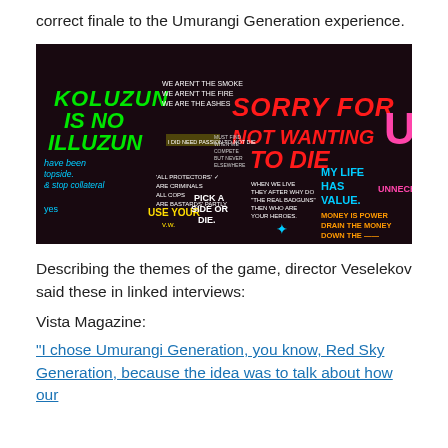correct finale to the Umurangi Generation experience.
[Figure (photo): Dark wall with graffiti-style text in multiple colors including green, red, yellow, blue, and pink. Text includes: KOLUZUN IS NO ILLUZUN, WE AREN'T THE SMOKE WE AREN'T THE FIRE WE ARE THE ASHES, SORRY FOR NOT WANTING TO DIE, MY LIFE HAS VALUE., MONEY IS POWER DRAIN THE MONEY DOWN THE, have been topside. & stop collateral, all Protectors are criminals, all cops are bastards, PICK A SIDE OR DIE., WHEN WE LIVE THEY AFTER WHY DO WE ASK IF WE ARE THE REAL BADGUNS THEN WHO ARE YOUR HEROES., USE YOUR, UNNECE]
Describing the themes of the game, director Veselekov said these in linked interviews:
Vista Magazine:
“I chose Umurangi Generation, you know, Red Sky Generation, because the idea was to talk about how our